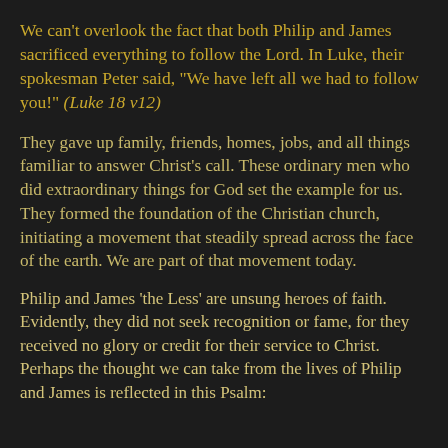We can't overlook the fact that both Philip and James sacrificed everything to follow the Lord. In Luke, their spokesman Peter said, "We have left all we had to follow you!" (Luke 18 v12)
They gave up family, friends, homes, jobs, and all things familiar to answer Christ's call. These ordinary men who did extraordinary things for God set the example for us. They formed the foundation of the Christian church, initiating a movement that steadily spread across the face of the earth. We are part of that movement today.
Philip and James 'the Less' are unsung heroes of faith. Evidently, they did not seek recognition or fame, for they received no glory or credit for their service to Christ. Perhaps the thought we can take from the lives of Philip and James is reflected in this Psalm: